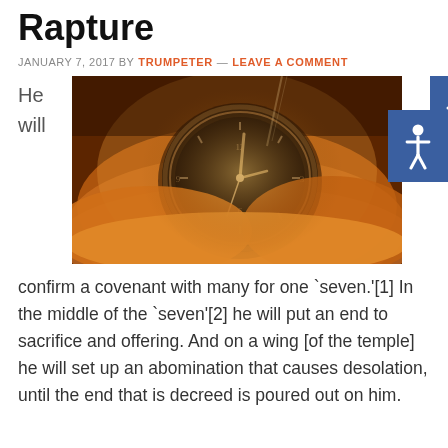Rapture
JANUARY 7, 2017 BY TRUMPETER — LEAVE A COMMENT
He will
[Figure (photo): A pocket watch face partially buried in golden sand, viewed from above, with dramatic warm lighting.]
confirm a covenant with many for one `seven.'[1] In the middle of the `seven'[2] he will put an end to sacrifice and offering. And on a wing [of the temple] he will set up an abomination that causes desolation, until the end that is decreed is poured out on him.